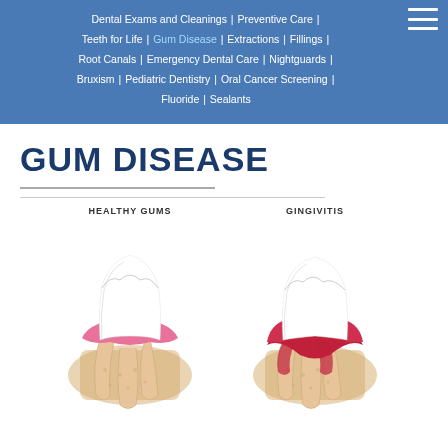Dental Exams and Cleanings | Preventive Care | Teeth for Life | Gum Disease | Extractions | Fillings | Root Canals | Emergency Dental Care | Nightguards | Bruxism | Pediatric Dentistry | Oral Cancer Screening | Fluoride | Sealants
GUM DISEASE
[Figure (illustration): Medical illustration showing two cross-sections of teeth and gums side by side: left panel labeled HEALTHY GUMS showing a tooth with normal pink gum tissue and roots; right panel labeled GINGIVITIS showing a tooth with inflamed red gum tissue and receding gums.]